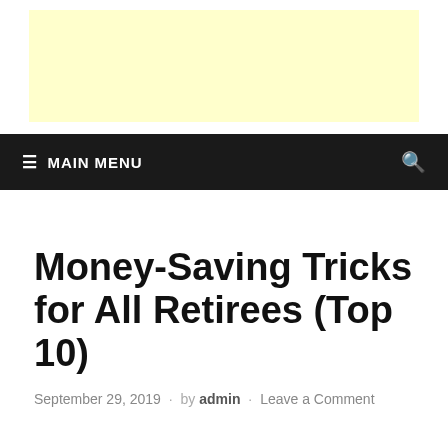[Figure (other): Light yellow advertisement banner placeholder]
≡ MAIN MENU
Money-Saving Tricks for All Retirees (Top 10)
September 29, 2019 · by admin · Leave a Comment